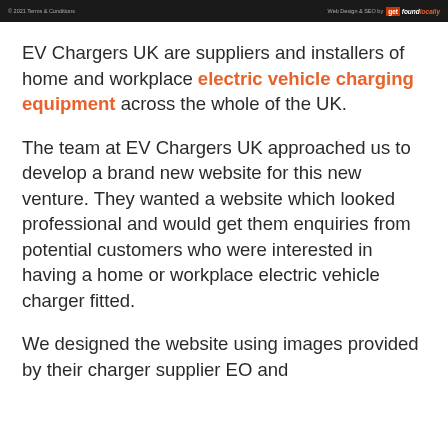© 2021 Terms & Conditions   Web Design & SEO by get found locally
EV Chargers UK are suppliers and installers of home and workplace electric vehicle charging equipment across the whole of the UK.
The team at EV Chargers UK approached us to develop a brand new website for this new venture. They wanted a website which looked professional and would get them enquiries from potential customers who were interested in having a home or workplace electric vehicle charger fitted.
We designed the website using images provided by their charger supplier EO and